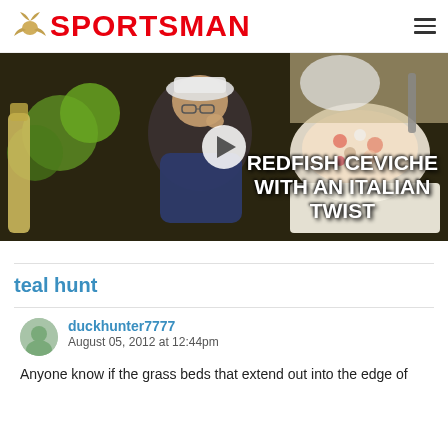SPORTSMAN
[Figure (screenshot): Video thumbnail showing a man eating food near a bowl of ceviche with limes and bottles. Text overlay reads: REDFISH CEVICHE WITH AN ITALIAN TWIST]
teal hunt
duckhunter7777
August 05, 2012 at 12:44pm
Anyone know if the grass beds that extend out into the edge of